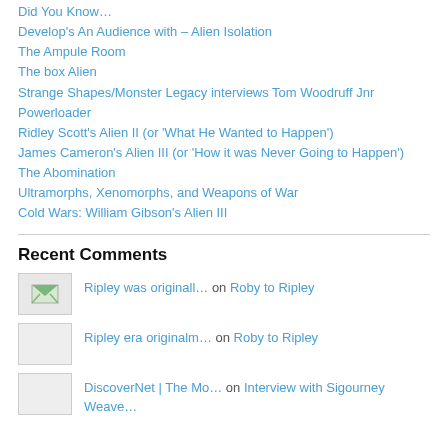Did You Know…
Develop's An Audience with – Alien Isolation
The Ampule Room
The box Alien
Strange Shapes/Monster Legacy interviews Tom Woodruff Jnr
Powerloader
Ridley Scott's Alien II (or 'What He Wanted to Happen')
James Cameron's Alien III (or 'How it was Never Going to Happen')
The Abomination
Ultramorphs, Xenomorphs, and Weapons of War
Cold Wars: William Gibson's Alien III
Recent Comments
Ripley was originall… on Roby to Ripley
Ripley era originalm… on Roby to Ripley
DiscoverNet | The Mo… on Interview with Sigourney Weave…